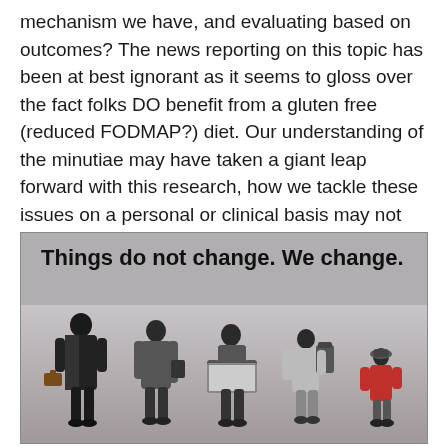mechanism we have, and evaluating based on outcomes? The news reporting on this topic has been at best ignorant as it seems to gloss over the fact folks DO benefit from a gluten free (reduced FODMAP?) diet. Our understanding of the minutiae may have taken a giant leap forward with this research, how we tackle these issues on a personal or clinical basis may not have changed at all.
[Figure (illustration): Inspirational quote image with text 'Things do not change. We change. --HENRY DAVID THOREAU' over a background showing a progression of male figures from adult businessman in suit down to young child, silhouetted against a grey background.]